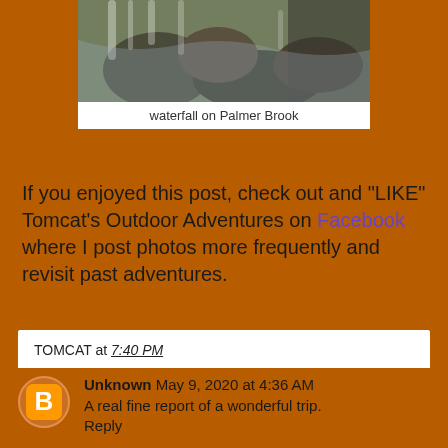[Figure (photo): Waterfall on Palmer Brook – rocks and rushing water]
waterfall on Palmer Brook
If you enjoyed this post, check out and "LIKE" Tomcat's Outdoor Adventures on Facebook where I post photos more frequently and revisit past adventures.
TOMCAT at 7:40 PM
Share
11 comments:
Unknown May 9, 2020 at 4:36 AM
A real fine report of a wonderful trip.
Reply